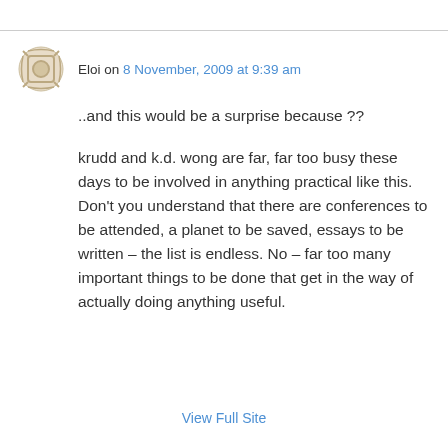Eloi on 8 November, 2009 at 9:39 am
..and this would be a surprise because ??
krudd and k.d. wong are far, far too busy these days to be involved in anything practical like this. Don't you understand that there are conferences to be attended, a planet to be saved, essays to be written – the list is endless. No – far too many important things to be done that get in the way of actually doing anything useful.
View Full Site